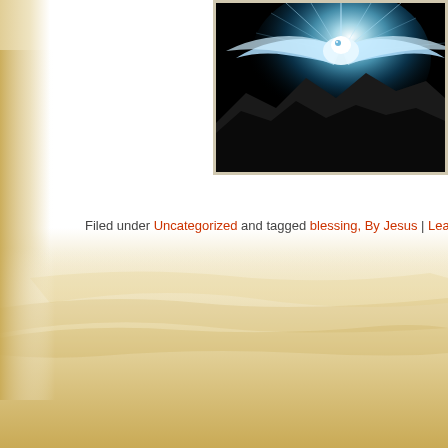[Figure (photo): Dark dramatic photo of a glowing blue/white dove or eagle figure with outstretched wings against a black background with light rays, framed with a light border, positioned in the top-right of the page.]
Filed under Uncategorized and tagged blessing, By Jesus | Leave a comment